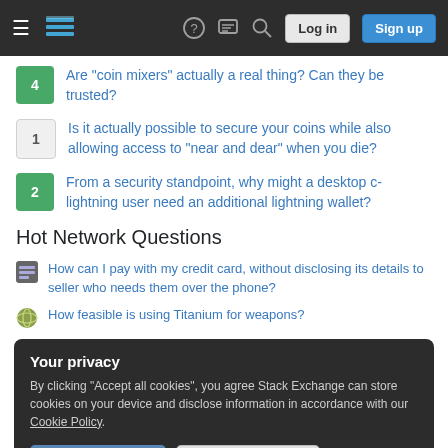Navigation bar with hamburger menu, Stack Exchange logo, help icon, chat icon, search icon, Log in button, Sign up button
4 — Are "coin mixers" actually a real thing? Can they be trusted?
1 — Is it actually possible to secure your coins while also allowing access to "near and dear" when you die?
2 — From a security standpoint, why might a desktop c-lightning user need an additional lightning wallet?
Hot Network Questions
How can I pay with my credit card, without disclosing its details to seller who needs them over the phone?
How feasible is using Titanium for weapons?
Your privacy
By clicking "Accept all cookies", you agree Stack Exchange can store cookies on your device and disclose information in accordance with our Cookie Policy.
Accept all cookies  Customize settings
Do Muslim countries other than Pakistan officially protest when there